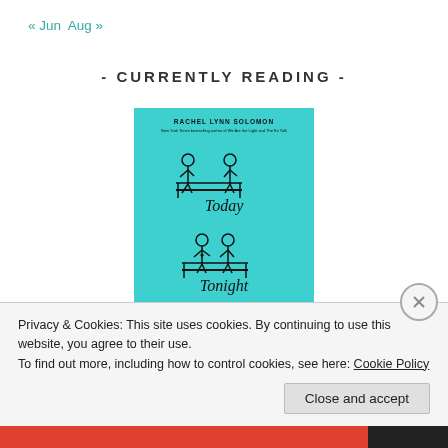« Jun  Aug »
- CURRENTLY READING -
[Figure (illustration): Book cover of 'Today Tonight Tomorrow' by Rachel Lynn Solomon. Cyan/teal background with minimalist line drawings of two people on a bench in three scenes labeled Today, Tonight, and Tomorrow in script font.]
Privacy & Cookies: This site uses cookies. By continuing to use this website, you agree to their use.
To find out more, including how to control cookies, see here: Cookie Policy
Close and accept